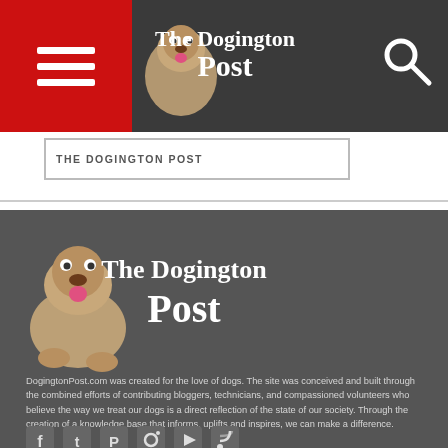The Dogington Post
THE DOGINGTON POST
[Figure (logo): The Dogington Post logo with bulldog puppy and serif text 'The Dogington Post']
DogingtonPost.com was created for the love of dogs. The site was conceived and built through the combined efforts of contributing bloggers, technicians, and compassioned volunteers who believe the way we treat our dogs is a direct reflection of the state of our society. Through the creation of a knowledge base that informs, uplifts and inspires, we can make a difference.
[Figure (infographic): Row of social media icons: Facebook, Twitter, Pinterest, Instagram, YouTube, RSS]